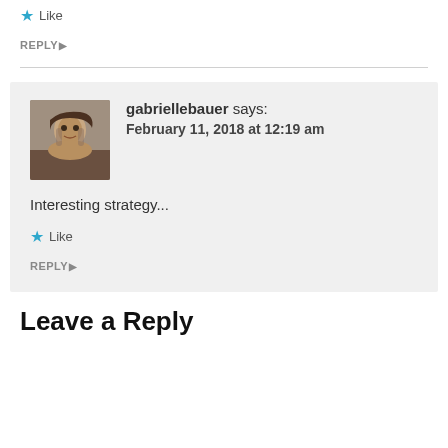★ Like
REPLY ▶
gabriellebauer says: February 11, 2018 at 12:19 am
Interesting strategy...
★ Like
REPLY ▶
Leave a Reply